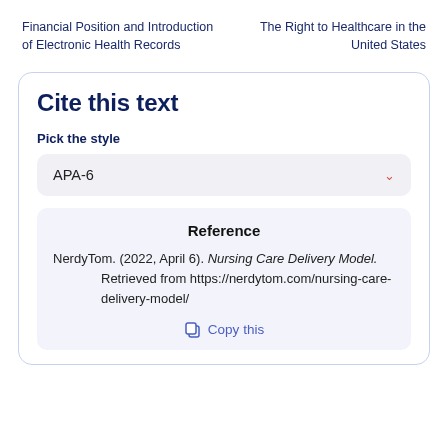Financial Position and Introduction of Electronic Health Records
The Right to Healthcare in the United States
Cite this text
Pick the style
APA-6
Reference
NerdyTom. (2022, April 6). Nursing Care Delivery Model. Retrieved from https://nerdytom.com/nursing-care-delivery-model/
Copy this